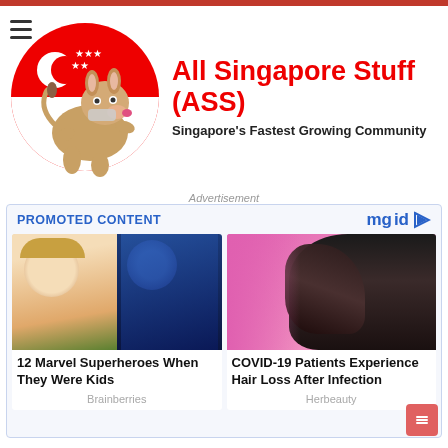[Figure (logo): All Singapore Stuff (ASS) website header with donkey mascot on Singapore flag circular logo]
All Singapore Stuff (ASS)
Singapore's Fastest Growing Community
Advertisement
PROMOTED CONTENT
[Figure (photo): Left: Young girl and blue superhero character (Marvel). Right: Woman with hair loss touching scalp near pink background.]
12 Marvel Superheroes When They Were Kids
COVID-19 Patients Experience Hair Loss After Infection
Brainberries
Herbeauty